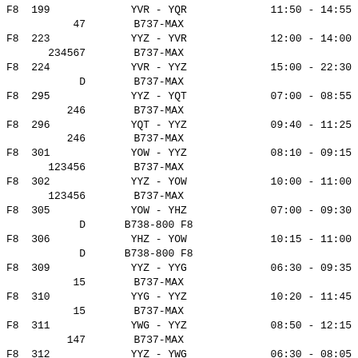| Flight | Route | Times |
| --- | --- | --- |
| F8  199 | YVR - YQR | 11:50 - 14:55 |
|     47 | B737-MAX |  |
| F8  223 | YYZ - YVR | 12:00 - 14:00 |
|     234567 | B737-MAX |  |
| F8  224 | YVR - YYZ | 15:00 - 22:30 |
|     D | B737-MAX |  |
| F8  295 | YYZ - YQT | 07:00 - 08:55 |
|     246 | B737-MAX |  |
| F8  296 | YQT - YYZ | 09:40 - 11:25 |
|     246 | B737-MAX |  |
| F8  301 | YOW - YYZ | 08:10 - 09:15 |
|     123456 | B737-MAX |  |
| F8  302 | YYZ - YOW | 10:00 - 11:00 |
|     123456 | B737-MAX |  |
| F8  305 | YOW - YHZ | 07:00 - 09:30 |
|     D | B738-800 F8 |  |
| F8  306 | YHZ - YOW | 10:15 - 11:00 |
|     D | B738-800 F8 |  |
| F8  309 | YYZ - YYG | 06:30 - 09:35 |
|     15 | B737-MAX |  |
| F8  310 | YYG - YYZ | 10:20 - 11:45 |
|     15 | B737-MAX |  |
| F8  311 | YWG - YYZ | 08:50 - 12:15 |
|     147 | B737-MAX |  |
| F8  312 | YYZ - YWG | 06:30 - 08:05 |
|     147 | B737-MAX |  |
| F8  314 | YVR - YWG | 06:00 - 10:50 |
|     36 | B737-MAX |  |
| F8  315 | YWG - YVR | 11:35 - 12:35 |
|     36 | B737-MAX |  |